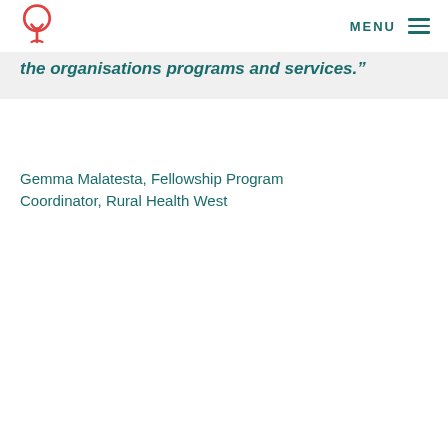MENU
the organisations programs and services.”
Gemma Malatesta, Fellowship Program Coordinator, Rural Health West